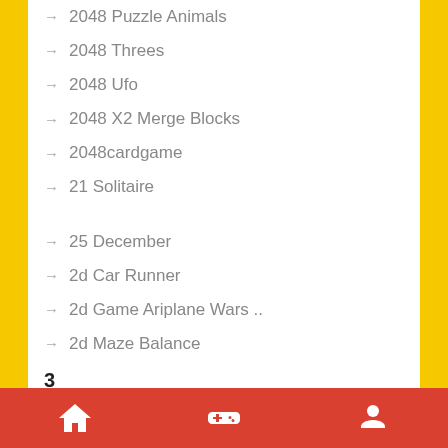2048 Puzzle Animals
2048 Threes
2048 Ufo
2048 X2 Merge Blocks
2048cardgame
21 Solitaire
25 December
2d Car Runner
2d Game Ariplane Wars ..
2d Maze Balance
3
3 2 1 Spell
3 Arcade
3 Cars
3 Keys Solitaire